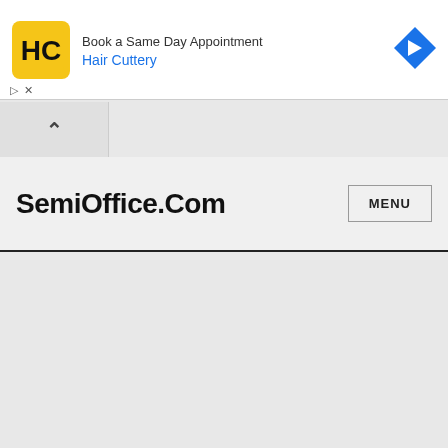[Figure (screenshot): Advertisement banner for Hair Cuttery showing logo, 'Book a Same Day Appointment' text, Hair Cuttery link in blue, and a blue navigation arrow icon on the right.]
[Figure (screenshot): Collapse/toggle button showing an upward chevron arrow on a grey background tab.]
SemiOffice.Com
MENU